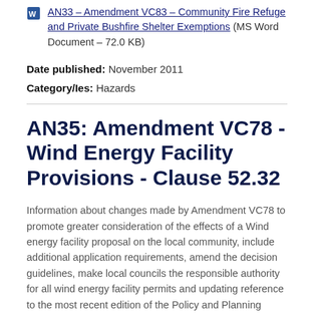AN33 - Amendment VC83 - Community Fire Refuge and Private Bushfire Shelter Exemptions (MS Word Document - 72.0 KB)
Date published: November 2011
Category/Ies: Hazards
AN35: Amendment VC78 - Wind Energy Facility Provisions - Clause 52.32
Information about changes made by Amendment VC78 to promote greater consideration of the effects of a Wind energy facility proposal on the local community, include additional application requirements, amend the decision guidelines, make local councils the responsible authority for all wind energy facility permits and updating reference to the most recent edition of the Policy and Planning Guidelines.
AN35 - Amendment VC78 - Wind Energy Facility